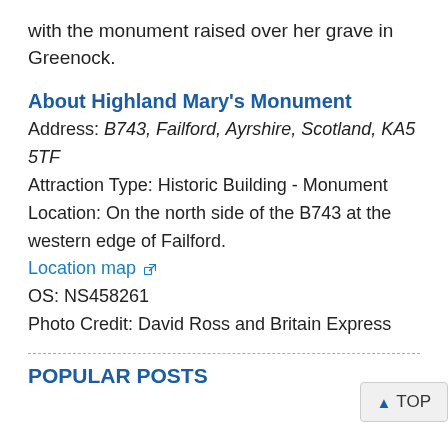with the monument raised over her grave in Greenock.
About Highland Mary's Monument
Address: B743, Failford, Ayrshire, Scotland, KA5 5TF
Attraction Type: Historic Building - Monument
Location: On the north side of the B743 at the western edge of Failford.
Location map
OS: NS458261
Photo Credit: David Ross and Britain Express
POPULAR POSTS
▲ TOP